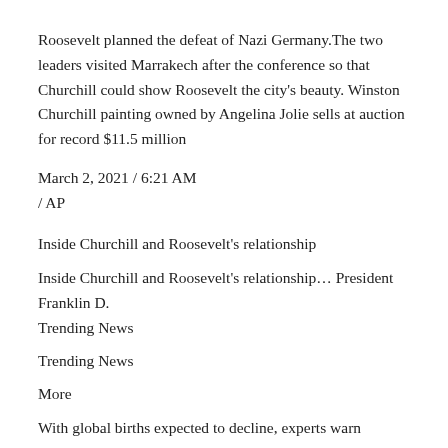Roosevelt planned the defeat of Nazi Germany.The two leaders visited Marrakech after the conference so that Churchill could show Roosevelt the city's beauty. Winston Churchill painting owned by Angelina Jolie sells at auction for record $11.5 million
March 2, 2021 / 6:21 AM
/ AP
Inside Churchill and Roosevelt's relationship
Inside Churchill and Roosevelt's relationship… President Franklin D.
Trending News
Trending News
More
With global births expected to decline, experts warn “crisis” looms
Dramatic video shows volcano spewing ash 16,000 feet into sky
Americans behind Nissan exec’s brazen escape from Japan face justice